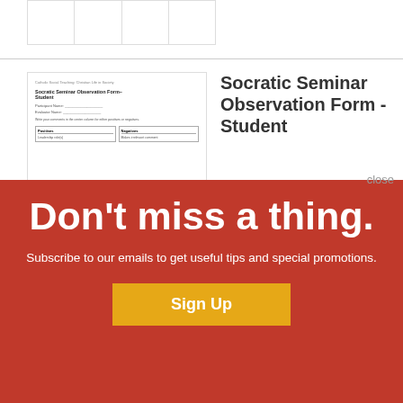[Figure (screenshot): Partial view of a table/form at the top of the page]
[Figure (screenshot): Thumbnail of the Socratic Seminar Observation Form - Student document, showing title, fields for Participant Name and Evaluator Name, and a two-column table for Positives and Negatives]
Socratic Seminar Observation Form - Student
A student observation form for the Socratic seminar.
Don't miss a thing.
Subscribe to our emails to get useful tips and special promotions.
Sign Up
close
Student Evaluation of the Socratic Seminar
A student evaluation form for the Socratic seminar.